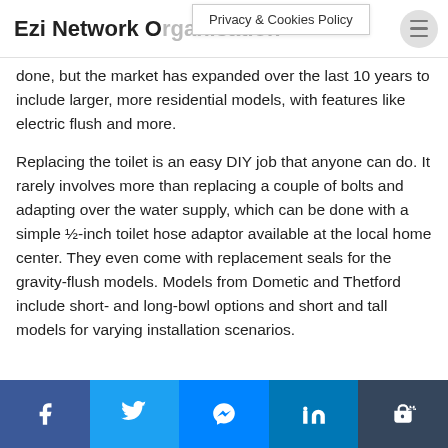Ezi Network Organisation
Privacy & Cookies Policy
done, but the market has expanded over the last 10 years to include larger, more residential models, with features like electric flush and more.
Replacing the toilet is an easy DIY job that anyone can do. It rarely involves more than replacing a couple of bolts and adapting over the water supply, which can be done with a simple ½-inch toilet hose adaptor available at the local home center. They even come with replacement seals for the gravity-flush models. Models from Dometic and Thetford include short- and long-bowl options and short and tall models for varying installation scenarios.
f  Twitter  Messenger  in  t